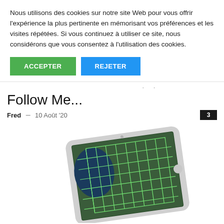Nous utilisons des cookies sur notre site Web pour vous offrir l'expérience la plus pertinente en mémorisant vos préférences et les visites répétées. Si vous continuez à utiliser ce site, nous considérons que vous consentez à l'utilisation des cookies.
ACCEPTER  REJETER
Follow Me...
Fred – 10 Août '20
[Figure (photo): An iPad tablet displaying a satellite/aerial map view with green flight path lines overlaid, shown at an angle on a white background.]